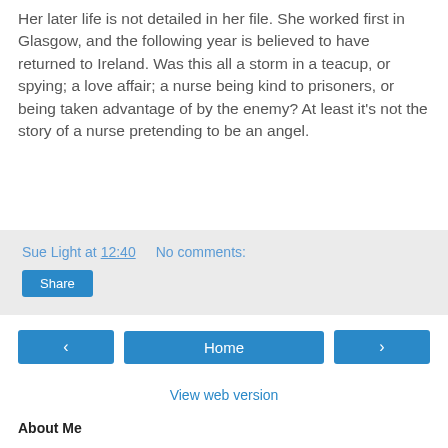Her later life is not detailed in her file. She worked first in Glasgow, and the following year is believed to have returned to Ireland. Was this all a storm in a teacup, or spying; a love affair; a nurse being kind to prisoners, or being taken advantage of by the enemy? At least it's not the story of a nurse pretending to be an angel.
Sue Light at 12:40   No comments:
Share
‹
Home
›
View web version
About Me